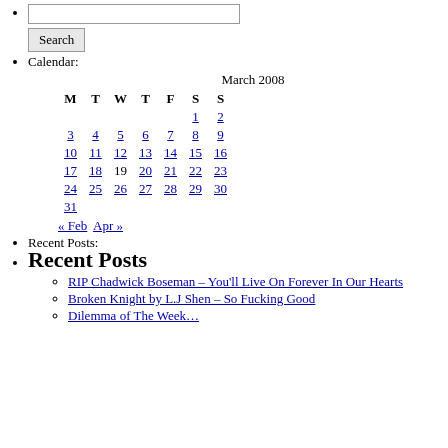[search input field]
Calendar: March 2008
| M | T | W | T | F | S | S |
| --- | --- | --- | --- | --- | --- | --- |
|  |  |  |  |  | 1 | 2 |
| 3 | 4 | 5 | 6 | 7 | 8 | 9 |
| 10 | 11 | 12 | 13 | 14 | 15 | 16 |
| 17 | 18 | 19 | 20 | 21 | 22 | 23 |
| 24 | 25 | 26 | 27 | 28 | 29 | 30 |
| 31 |  |  |  |  |  |  |
« Feb   Apr »
Recent Posts:
Recent Posts
RIP Chadwick Boseman – You'll Live On Forever In Our Hearts
Broken Knight by L.J Shen – So Fucking Good
Dilemma of The Week…